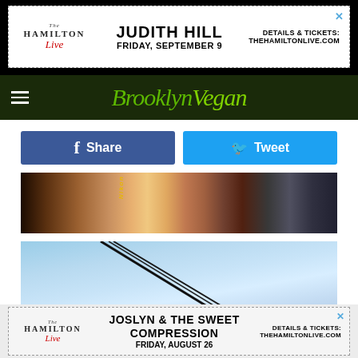[Figure (other): The Hamilton Live advertisement banner: Judith Hill, Friday September 9, Details & Tickets: thehamiltonlive.com]
Brooklyn Vegan — navigation bar with hamburger menu and site logo
[Figure (other): Share and Tweet social media buttons]
[Figure (photo): Close-up photo of people at a concert with a Nikon camera strap visible]
[Figure (photo): Photo looking up at wires against a blue sky with a bird nest]
[Figure (other): The Hamilton Live advertisement banner: Joslyn & The Sweet Compression, Friday August 26, Details & Tickets: thehamiltonlive.com]